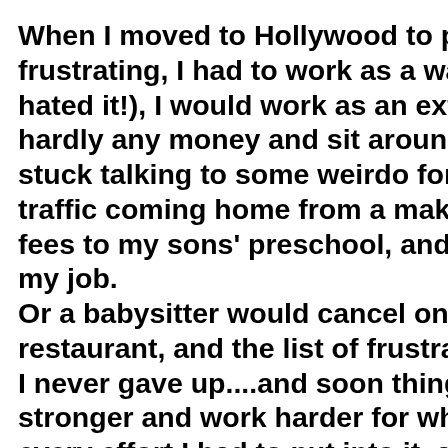When I moved to Hollywood to pursu frustrating, I had to work as a waitres hated it!), I would work as an extra on hardly any money and sit around wait stuck talking to some weirdo for like s traffic coming home from a make-up j fees to my sons' preschool, and the f my job. Or a babysitter would cancel on me w restaurant, and the list of frustrations I never gave up....and soon things sta stronger and work harder for what I w every effort I had to put into it, and ap